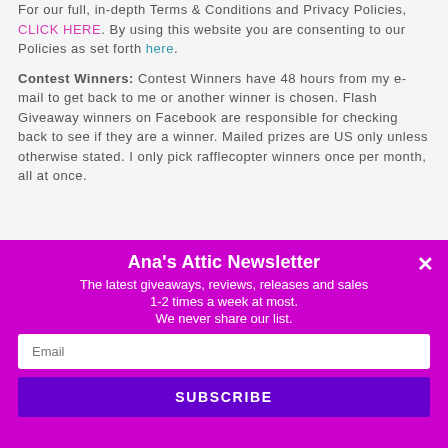For our full, in-depth Terms & Conditions and Privacy Policies, CLICK HERE. By using this website you are consenting to our Policies as set forth here.
Contest Winners: Contest Winners have 48 hours from my e-mail to get back to me or another winner is chosen. Flash Giveaway winners on Facebook are responsible for checking back to see if they are a winner. Mailed prizes are US only unless otherwise stated. I only pick rafflecopter winners once per month, all at once.
Ana's Attic Newsletter
The latest giveaways, reviews, releases and sales
1-2 times a week at most.
We never share our list.
Email
SUBSCRIBE